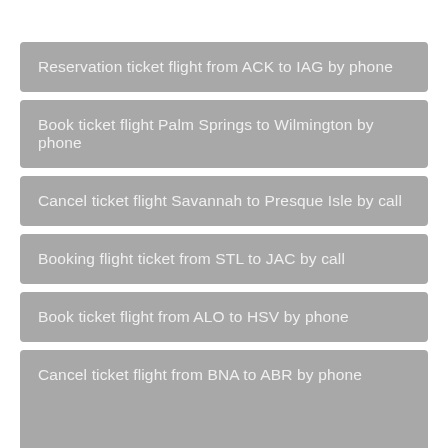Reservation ticket flight from ACK to IAG by phone
Book ticket flight Palm Springs to Wilmington by phone
Cancel ticket flight Savannah to Presque Isle by call
Booking flight ticket from STL to JAC by call
Book ticket flight from ALO to HSV by phone
Cancel ticket flight from BNA to ABR by phone
Order flight ticket Miami to Lexington by call
...